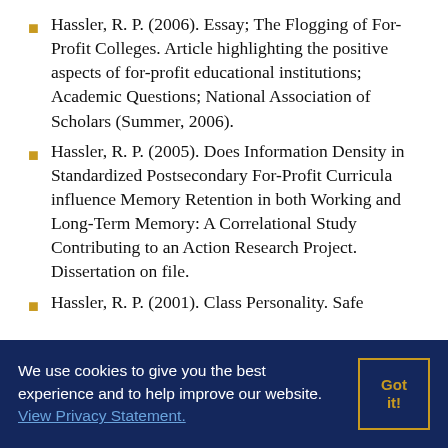Hassler, R. P. (2006). Essay; The Flogging of For-Profit Colleges. Article highlighting the positive aspects of for-profit educational institutions; Academic Questions; National Association of Scholars (Summer, 2006).
Hassler, R. P. (2005). Does Information Density in Standardized Postsecondary For-Profit Curricula influence Memory Retention in both Working and Long-Term Memory: A Correlational Study Contributing to an Action Research Project. Dissertation on file.
Hassler, R. P. (2001). Class Personality. Safe
We use cookies to give you the best experience and to help improve our website. View Privacy Statement.
Got it!